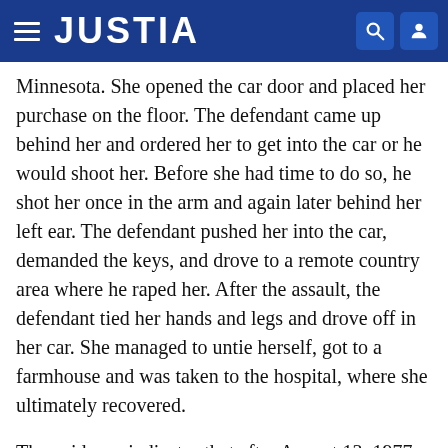JUSTIA
Minnesota. She opened the car door and placed her purchase on the floor. The defendant came up behind her and ordered her to get into the car or he would shoot her. Before she had time to do so, he shot her once in the arm and again later behind her left ear. The defendant pushed her into the car, demanded the keys, and drove to a remote country area where he raped her. After the assault, the defendant tied her hands and legs and drove off in her car. She managed to untie herself, got to a farmhouse and was taken to the hospital, where she ultimately recovered.
The evidence indicates that after August 13, 1977, the defendant went to Chicago, Illinois, and then back to Lincoln, Nebraska, where he was arrested in the railroad yards on the early morning of August 18, 1977.
The defendant made a statement to the police which